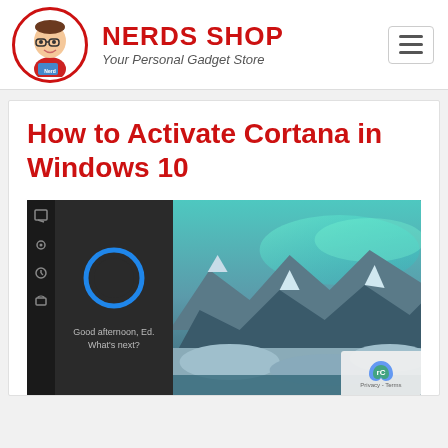[Figure (logo): Nerds Shop logo with cartoon nerd character in red circle, bold red NERDS SHOP text and italic 'Your Personal Gadget Store' tagline]
How to Activate Cortana in Windows 10
[Figure (screenshot): Screenshot showing Cortana interface in Windows 10 with dark panel showing a blue glowing ring and text 'Good afternoon, Ed. What's next?' on the left, and a snowy mountain landscape with aurora borealis on the right]